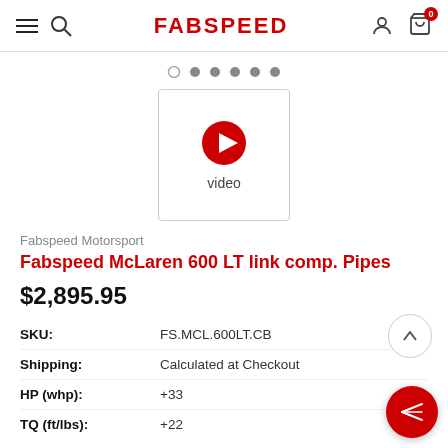FABSPEED
[Figure (screenshot): Video thumbnail placeholder with red play button and label 'video']
Fabspeed Motorsport
Fabspeed McLaren 600 LT link comp. Pipes
$2,895.95
| Field | Value |
| --- | --- |
| SKU: | FS.MCL.600LT.CB |
| Shipping: | Calculated at Checkout |
| HP (whp): | +33 |
| TQ (ft/lbs): | +22 |